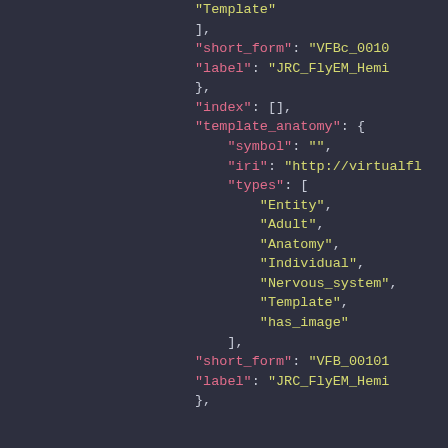JSON code snippet showing template_anatomy object with fields: symbol, iri, types (Entity, Adult, Anatomy, Individual, Nervous_system, Template, has_image), short_form, label, and index fields